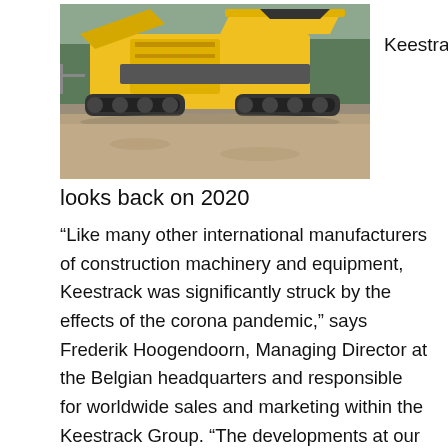[Figure (photo): A yellow and gray Keestrack mobile jaw crusher/screening machine on a gravel surface outdoors, with trees in the background.]
Keestrack looks back on 2020
“Like many other international manufacturers of construction machinery and equipment, Keestrack was significantly struck by the effects of the corona pandemic,” says Frederik Hoogendoorn, Managing Director at the Belgian headquarters and responsible for worldwide sales and marketing within the Keestrack Group. “The developments at our international  production facilities took a very different course. Which not only presented us with major challenges in their local market regions but also in maintaining our internal and external delivery flows as